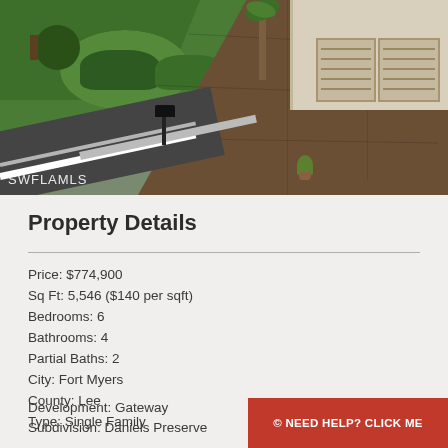[Figure (photo): Aerial/elevated view of a residential property showing a large brown/terracotta driveway, green lawn with landscaping, palm trees, and a house with double garage on the right. A road with white lines is visible in the lower left. Watermark 'SWFLAMLS' in lower left corner.]
Property Details
Price: $774,900
Sq Ft: 5,546 ($140 per sqft)
Bedrooms: 6
Bathrooms: 4
Partial Baths: 2
City: Fort Myers
County: Lee
Type: Single Family
Development: Gateway
Subdivision: Daniels Preserve
© NEED HELP? CLICK ME